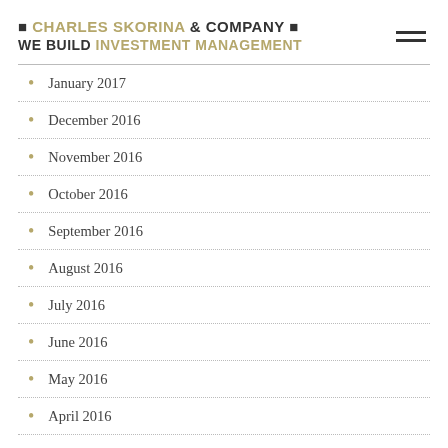■ CHARLES SKORINA & COMPANY ■ WE BUILD INVESTMENT MANAGEMENT
January 2017
December 2016
November 2016
October 2016
September 2016
August 2016
July 2016
June 2016
May 2016
April 2016